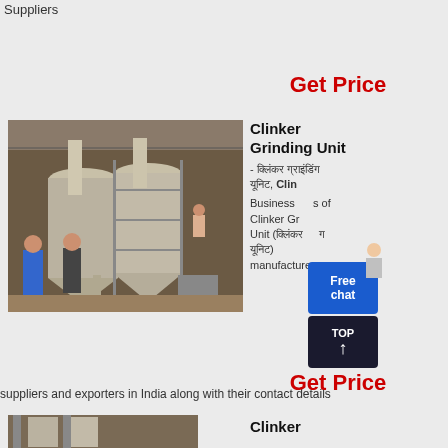Suppliers
Get Price
[Figure (photo): Industrial clinker grinding unit with large silo tanks, pipes, scaffolding, and workers at an industrial facility interior]
Clinker Grinding Unit
- क्लिंकर ग्राइंडिंग यूनिट, Clinker Grinding Unit
Business listings of Clinker Grinding Unit (क्लिंकर ग्राइंडिंग यूनिट) manufacturers, suppliers and exporters in India along with their contact details
Get Price
[Figure (photo): Industrial clinker grinding facility interior, partial view]
Clinker